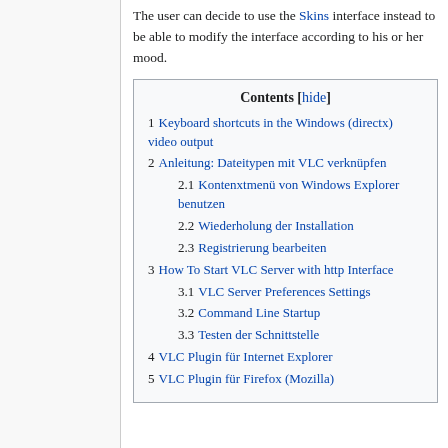The user can decide to use the Skins interface instead to be able to modify the interface according to his or her mood.
Contents [hide]
1 Keyboard shortcuts in the Windows (directx) video output
2 Anleitung: Dateitypen mit VLC verknüpfen
2.1 Kontenxtmenü von Windows Explorer benutzen
2.2 Wiederholung der Installation
2.3 Registrierung bearbeiten
3 How To Start VLC Server with http Interface
3.1 VLC Server Preferences Settings
3.2 Command Line Startup
3.3 Testen der Schnittstelle
4 VLC Plugin für Internet Explorer
5 VLC Plugin für Firefox (Mozilla)